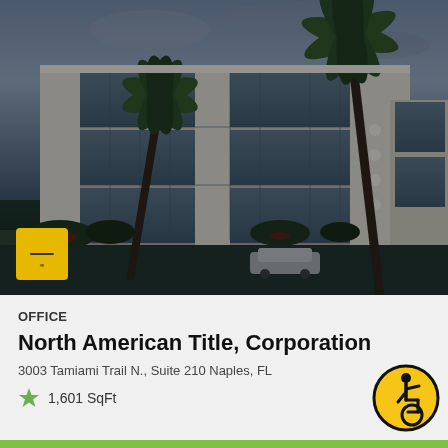[Figure (photo): Exterior architectural rendering of a modern multi-story office building with glass facade and palm trees, photographed at dusk]
OFFICE
North American Title, Corporation
3003 Tamiami Trail N., Suite 210 Naples, FL
1,601 SqFt